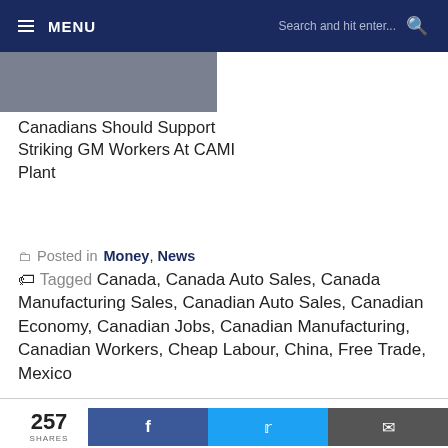MENU | Search and hit enter...
[Figure (photo): Partial image strip showing a photo related to CAMI Plant workers]
Canadians Should Support Striking GM Workers At CAMI Plant
Posted in Money, News
Tagged Canada, Canada Auto Sales, Canada Manufacturing Sales, Canadian Auto Sales, Canadian Economy, Canadian Jobs, Canadian Manufacturing, Canadian Workers, Cheap Labour, China, Free Trade, Mexico